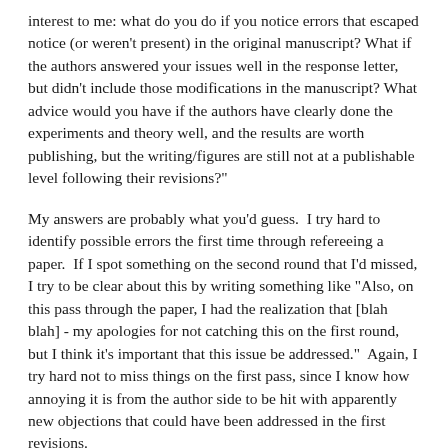interest to me: what do you do if you notice errors that escaped notice (or weren't present) in the original manuscript? What if the authors answered your issues well in the response letter, but didn't include those modifications in the manuscript? What advice would you have if the authors have clearly done the experiments and theory well, and the results are worth publishing, but the writing/figures are still not at a publishable level following their revisions?"
My answers are probably what you'd guess.  I try hard to identify possible errors the first time through refereeing a paper.  If I spot something on the second round that I'd missed, I try to be clear about this by writing something like "Also, on this pass through the paper, I had the realization that [blah blah] - my apologies for not catching this on the first round, but I think it's important that this issue be addressed."  Again, I try hard not to miss things on the first pass, since I know how annoying it is from the author side to be hit with apparently new objections that could have been addressed in the first revisions.
I've definitely had cases where the authors wrote a great